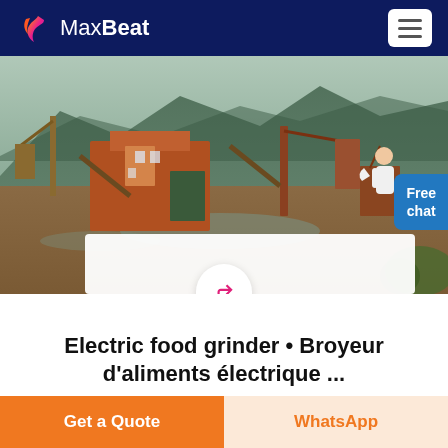MaxBeat
[Figure (photo): Industrial mining/crushing equipment yard with mountains and greenery in background]
Electric food grinder • Broyeur d'aliments électrique ...
Electric food grinder • Broyeur d'aliments
Get a Quote
WhatsApp